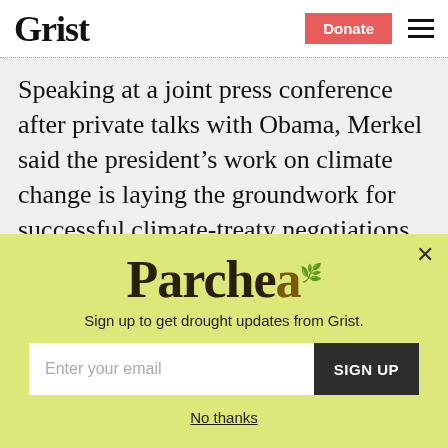Grist | Donate
Speaking at a joint press conference after private talks with Obama, Merkel said the president’s work on climate change is laying the groundwork for successful climate-treaty negotiations later this year in Denmark: “I’m very gratified to note that the president feels 100 percent committed
[Figure (other): Parched newsletter signup popup overlay with yellow-green background, Parched logo, tagline 'Sign up to get drought updates from Grist.', email input field, SIGN UP button, and No thanks link]
Sign up to get drought updates from Grist.